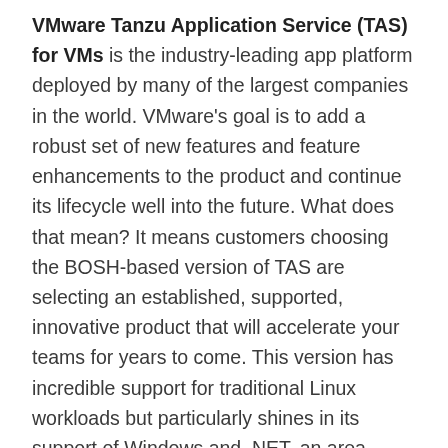VMware Tanzu Application Service (TAS) for VMs is the industry-leading app platform deployed by many of the largest companies in the world. VMware's goal is to add a robust set of new features and feature enhancements to the product and continue its lifecycle well into the future. What does that mean? It means customers choosing the BOSH-based version of TAS are selecting an established, supported, innovative product that will accelerate your teams for years to come. This version has incredible support for traditional Linux workloads but particularly shines in its support of Windows and .NET, an area where Kubernetes has a lot of work left to do.